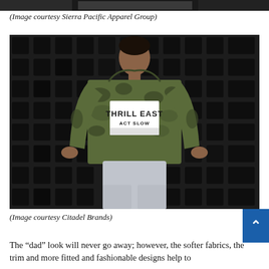[Figure (photo): Top cropped portion of an image, dark background]
(Image courtesy Sierra Pacific Apparel Group)
[Figure (photo): Man wearing a camouflage hoodie with 'THRILL EAST ACT SLOW' printed on it, standing in front of a dark grid wall, wearing light grey sweatpants]
(Image courtesy Citadel Brands)
The “dad” look will never go away; however, the softer fabrics, the trim and more fitted and fashionable designs help to